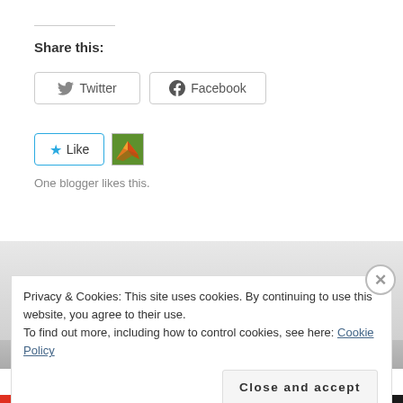Share this:
[Figure (screenshot): Twitter share button with bird icon]
[Figure (screenshot): Facebook share button with f icon]
[Figure (screenshot): Like button with star icon and blogger avatar thumbnail]
One blogger likes this.
[Figure (screenshot): Cookie consent notice overlay with close X button, privacy message, Cookie Policy link, and Close and accept button]